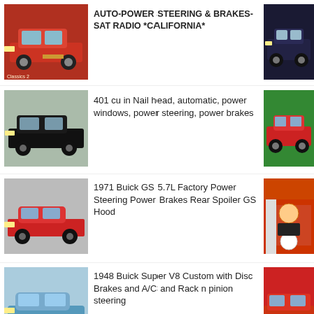[Figure (photo): Red classic car, left side view]
AUTO-POWER STEERING & BRAKES-SAT RADIO *CALIFORNIA*
[Figure (photo): Dark blue classic car, front view]
[Figure (photo): Black classic Buick Riviera, side view]
401 cu in Nail head, automatic, power windows, power steering, power brakes
[Figure (photo): Red convertible classic car]
[Figure (photo): Red 1971 Buick GS muscle car, side view]
1971 Buick GS 5.7L Factory Power Steering Power Brakes Rear Spoiler GS Hood
[Figure (photo): Woman standing next to red classic car at dealership]
[Figure (photo): Light blue 1948 Buick Super sedan, side view]
1948 Buick Super V8 Custom with Disc Brakes and A/C and Rack n pinion steering
[Figure (photo): Red classic car partial view]